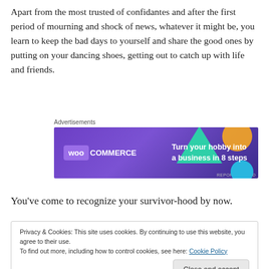Apart from the most trusted of confidantes and after the first period of mourning and shock of news, whatever it might be, you learn to keep the bad days to yourself and share the good ones by putting on your dancing shoes, getting out to catch up with life and friends.
[Figure (other): WooCommerce advertisement banner: 'Turn your hobby into a business in 8 steps']
You've come to recognize your survivor-hood by now.
Privacy & Cookies: This site uses cookies. By continuing to use this website, you agree to their use.
To find out more, including how to control cookies, see here: Cookie Policy
Close and accept